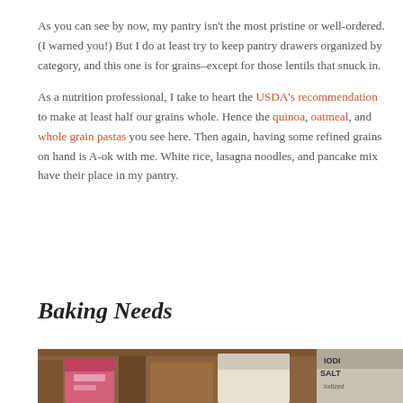As you can see by now, my pantry isn't the most pristine or well-ordered. (I warned you!) But I do at least try to keep pantry drawers organized by category, and this one is for grains–except for those lentils that snuck in.

As a nutrition professional, I take to heart the USDA's recommendation to make at least half our grains whole. Hence the quinoa, oatmeal, and whole grain pastas you see here. Then again, having some refined grains on hand is A-ok with me. White rice, lasagna noodles, and pancake mix have their place in my pantry.
Baking Needs
[Figure (photo): Partial photo of a pantry shelf/drawer showing items including what appears to be a container of Iodized Salt and other baking items; warm brown wooden tones with pink packaging visible.]